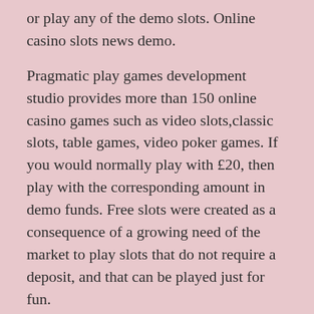or play any of the demo slots. Online casino slots news demo.
Pragmatic play games development studio provides more than 150 online casino games such as video slots,classic slots, table games, video poker games. If you would normally play with £20, then play with the corresponding amount in demo funds. Free slots were created as a consequence of a growing need of the market to play slots that do not require a deposit, and that can be played just for fun.
Slot development companies were quick to act and came up with a brilliant idea — demo slots. Coba semua permainan slot dari pragmaticplay gratis berbahasa indonesia disitus ini, lengkap, terdapat juga bebeberapa permainan online lainnya. This is the same page where we will later add the slot demo that you can play for free.
Cara buat akun demo slot gratis. Filter by category classic slots (6) other games (1) scratch cards (7) table games (4) video poker (1) video slots (96) coba. Namun, ingat bahwa kemenangan kamu pada permainan akun demo slot online tidak bisa kamu tarik uangnya.
Mencari akun demo slot pragmatic online terlengkap memang terlampau penting. Apalagi jika anda mendapatkan akun demo yang terlengkan. Memang sedikit berbeda untuk versi demo dan versi real